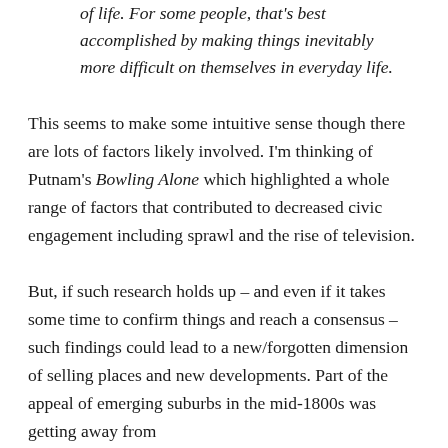of life. For some people, that's best accomplished by making things inevitably more difficult on themselves in everyday life.
This seems to make some intuitive sense though there are lots of factors likely involved. I'm thinking of Putnam's Bowling Alone which highlighted a whole range of factors that contributed to decreased civic engagement including sprawl and the rise of television.
But, if such research holds up – and even if it takes some time to confirm things and reach a consensus – such findings could lead to a new/forgotten dimension of selling places and new developments. Part of the appeal of emerging suburbs in the mid-1800s was getting away from